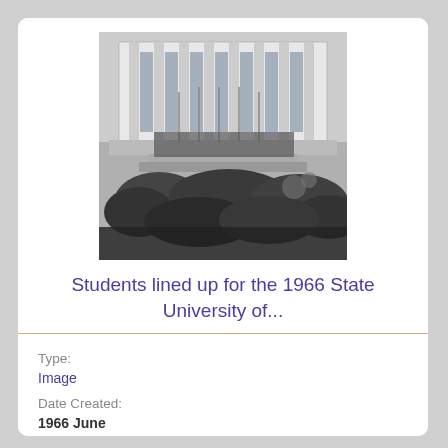[Figure (photo): Black and white photograph of students lined up outside a building with large columns, vegetation in foreground]
Students lined up for the 1966 State University of...
Type:
Image
Date Created:
1966 June
Collection:
University Photograph Collection
Collecting Area:
University Archives
Collection ID:
ua390